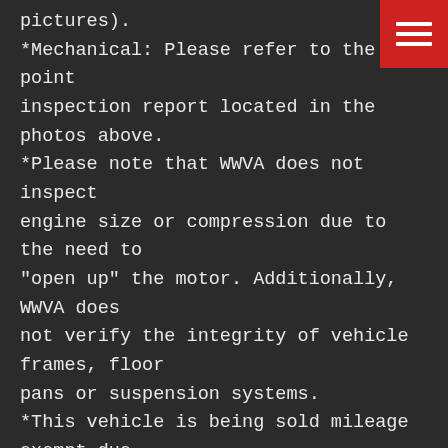pictures).
*Mechanical: Please refer to the 30 point inspection report located in the photos above.
*Please note that WWVA does not inspect engine size or compression due to the need to "open up" the motor. Additionally, WWVA does not verify the integrity of vehicle frames, floor pans or suspension systems.
*This vehicle is being sold mileage exempt due to age. Mileage advertised reflects current odometer reading.
*For more details on any disclosure items please see contact a sales agent today at 1-877-587-2691.

The engine size and specs if any were provided
[Figure (other): Red hamburger menu button in top-right corner with three white horizontal lines]